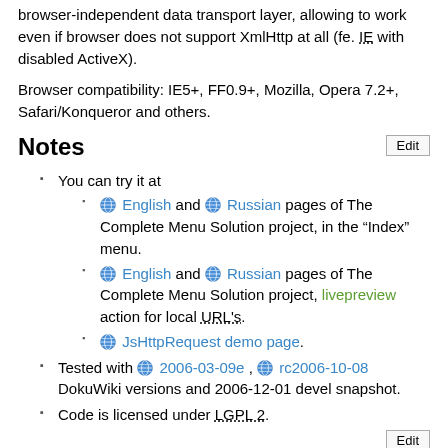browser-independent data transport layer, allowing to work even if browser does not support XmlHttp at all (fe. IE with disabled ActiveX).
Browser compatibility: IE5+, FF0.9+, Mozilla, Opera 7.2+, Safari/Konqueror and others.
Notes
You can try it at
English and Russian pages of The Complete Menu Solution project, in the “Index” menu.
English and Russian pages of The Complete Menu Solution project, livepreview action for local URL's.
JsHttpRequest demo page.
Tested with 2006-03-09e , rc2006-10-08 DokuWiki versions and 2006-12-01 devel snapshot.
Code is licensed under LGPL 2.